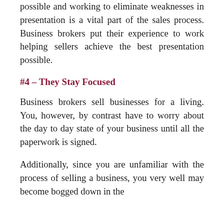possible and working to eliminate weaknesses in presentation is a vital part of the sales process. Business brokers put their experience to work helping sellers achieve the best presentation possible.
#4 – They Stay Focused
Business brokers sell businesses for a living. You, however, by contrast have to worry about the day to day state of your business until all the paperwork is signed.
Additionally, since you are unfamiliar with the process of selling a business, you very well may become bogged down in the